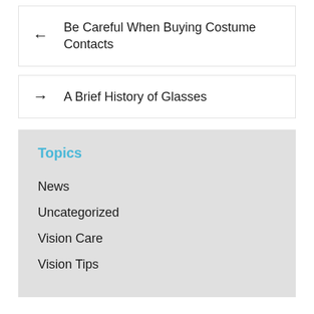← Be Careful When Buying Costume Contacts
→ A Brief History of Glasses
Topics
News
Uncategorized
Vision Care
Vision Tips